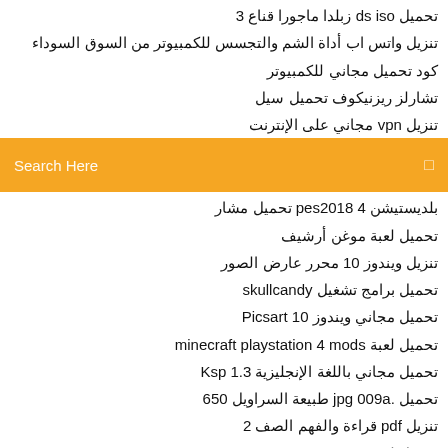تحميل ds iso زبلدا ماجورا قناع 3
تنزيل واتس اب أداة الشم والتجسس للكمبيوتر من السوق السوداء
كود تحميل مجاني للكمبيوتر
تشارلز ريزنيكوف تحميل سيل
تنزيل vpn مجاني على الإنترنت
[Figure (screenshot): Orange search bar with 'Search Here' placeholder text and a small icon on the right]
بلديستيشن 4 pes2018 تحميل مشار
تحميل لعبة موغن أرشيف
تنزيل ويندوز 10 محرر عارض الصور
تحميل برامج تشغيل skullcandy
تحميل مجاني ويندوز 10 Picsart
تحميل لعبة minecraft playstation 4 mods
تحميل مجاني باللغة الإنجليزية Ksp 1.3
تحميل .jpg 009a طبيعة السراويل 650
تنزيل pdf قراءة والفهم الصف 2
تحميل لعبة lego star wars the complete saga usa pc
تنزيل itransmission